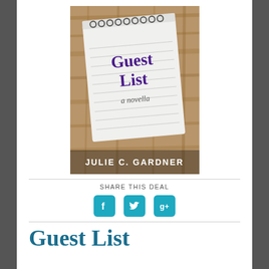[Figure (illustration): Book cover for 'Guest List: a novella' by Julie C. Gardner. Features a spiral-bound notepad on a wooden surface with 'Guest List' in purple serif font and 'a novella' in cursive, with the author's name at the bottom in white capital letters.]
SHARE THIS DEAL
[Figure (infographic): Three social media icons: Facebook (f), Twitter (bird), and Google+ (g+), each in teal/cyan rounded square buttons.]
Guest List